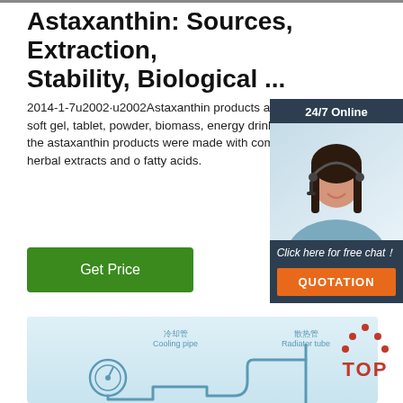Astaxanthin: Sources, Extraction, Stability, Biological ...
2014-1-7u2002·u2002Astaxanthin products are available in the form of capsule, soft gel, tablet, powder, biomass, energy drink, oil and extract in the market (Table the astaxanthin products were made with combining carotenoids, multivitamins, herbal extracts and omega fatty acids.
[Figure (other): Green 'Get Price' button]
[Figure (other): 24/7 Online chat widget with female customer service agent photo, 'Click here for free chat!' and orange QUOTATION button]
[Figure (engineering-diagram): Cooling system diagram with Chinese and English labels: 冷却管 Cooling pipe, 散热管 Radiator tube, and a gauge/pipe illustration. TOP logo in red in top right corner.]